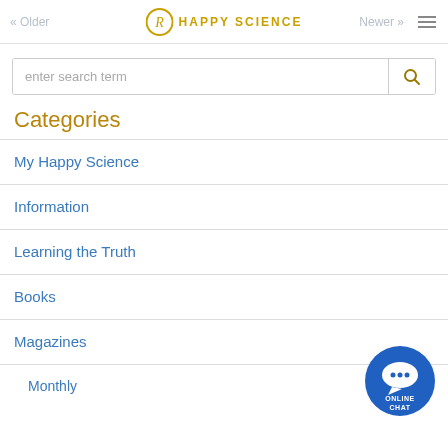« Older   Happy Science   Newer »
enter search term
Categories
My Happy Science
Information
Learning the Truth
Books
Magazines
Monthly
[Figure (logo): Online Chat button — blue circle with speech bubble and three dots, labeled ONLINE CHAT]